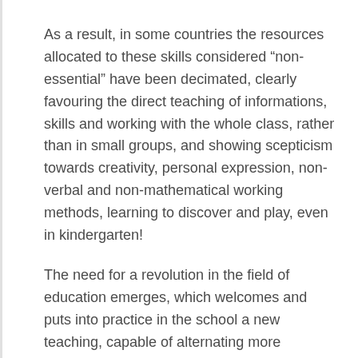As a result, in some countries the resources allocated to these skills considered “non-essential” have been decimated, clearly favouring the direct teaching of informations, skills and working with the whole class, rather than in small groups, and showing scepticism towards creativity, personal expression, non-verbal and non-mathematical working methods, learning to discover and play, even in kindergarten!
The need for a revolution in the field of education emerges, which welcomes and puts into practice in the school a new teaching, capable of alternating more structured moments with laboratory activities, where the relationship with the teacher becomes an facility for the discovery of new solutions, thanks to the active comparison with the group and with the world.
A system emerges which helps it most in the...